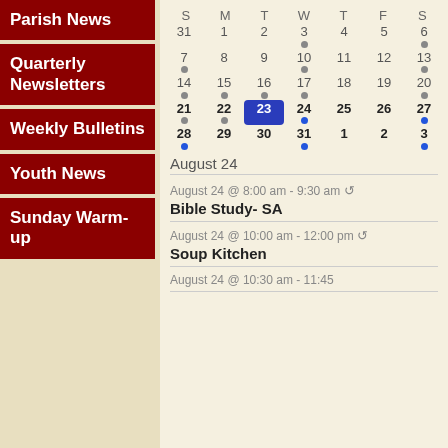Parish News
Quarterly Newsletters
Weekly Bulletins
Youth News
Sunday Warm-up
[Figure (other): Monthly calendar showing August with day dots indicating events. Day 23 is highlighted in blue (today). Days with gray dots: 3, 6, 7, 10, 13, 14, 15, 16, 17, 20. Days with blue dots: 23, 24, 27, 28, 31, 3.]
August 24
August 24 @ 8:00 am - 9:30 am ↺
Bible Study- SA
August 24 @ 10:00 am - 12:00 pm ↺
Soup Kitchen
August 24 @ 10:30 am - 11:45